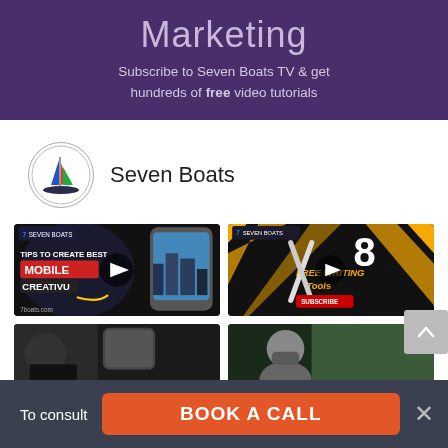Marketing
Subscribe to Seven Boats TV & get hundreds of free video tutorials
[Figure (logo): Seven Boats circular logo with sailboat and colorful stripes]
Seven Boats
[Figure (screenshot): Video thumbnail: Tips to create best mobile creatives, showing smartphone with city background]
[Figure (screenshot): Video thumbnail: 8 free writing tools, showing crossed pens on black and yellow background]
[Figure (screenshot): Video thumbnail: partially visible dark video]
[Figure (screenshot): Video thumbnail: person with mask, partially visible]
To consult
BOOK A CALL